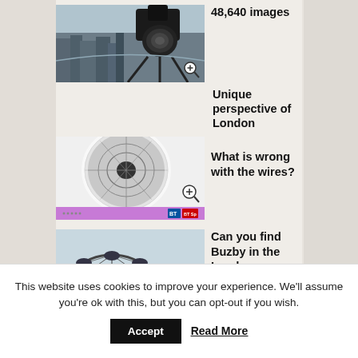48,640 images
[Figure (photo): Aerial photo of London skyline with a large camera on a tripod in foreground, fisheye lens effect visible. Zoom icon overlay.]
Unique perspective of London
[Figure (photo): Circular fisheye/globe projection of city wires or cables viewed from below, with purple BT/BT Sport branded bar at bottom. Zoom icon overlay.]
What is wrong with the wires?
[Figure (photo): Aerial view of the London Eye ferris wheel from above, capsules visible. Zoom icon overlay.]
Can you find Buzby in the London panorama?
This website uses cookies to improve your experience. We'll assume you're ok with this, but you can opt-out if you wish.